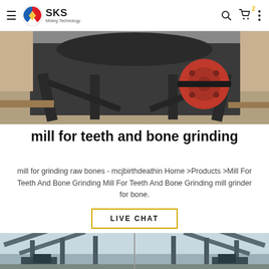SKS Mining Technology
[Figure (photo): Industrial mill machine with red wheel/flywheel on a metal frame, photographed in a warehouse setting]
mill for teeth and bone grinding
mill for grinding raw bones - mcjbirthdeathin Home >Products >Mill For Teeth And Bone Grinding Mill For Teeth And Bone Grinding mill grinder for bone.
LIVE CHAT
[Figure (photo): Two large industrial conveyor/transport structures with machinery at base, photographed outdoors]